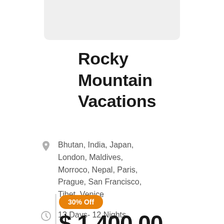[Figure (photo): Gray placeholder image at top of card]
Rocky Mountain Vacations
Bhutan, India, Japan, London, Maldives, Morroco, Nepal, Paris, Prague, San Francisco, Tibet, Venice
13 Days- 12 Nights
30% Off
$ 1,400.00